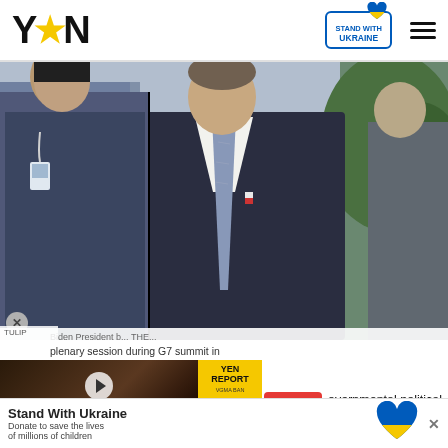YEN
[Figure (photo): Man in dark suit with blue tie walks at G7 summit, flanked by security personnel. Green foliage visible in background on right.]
plenary session during G7 summit in wall, United Kingdom. Photo: Phil Noble -
[Figure (screenshot): Video thumbnail overlay: Stonebwoy breaks silence on VGMA ban with title 'VGMA BAN IS A GOOD THING' with YEN Report branding on yellow background.]
overnmental political forum
[Figure (logo): Stand With Ukraine banner ad with heart logo. Text: Stand With Ukraine. Donate to save the lives of millions of children.]